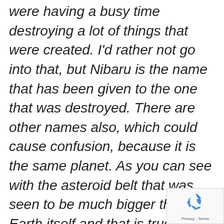were having a busy time destroying a lot of things that were created. I'd rather not go into that, but Nibaru is the name that has been given to the one that was destroyed. There are other names also, which could cause confusion, because it is the same planet. As you can see with the asteroid belt that was seen to be much bigger than the Earth itself and that is true, however, with the energy and the balance in sacred geometry if you like, in energy,, is the same and so it was not put in to a place where there was an imbalance of the circular planets of your solar system. So it was not out of balance after the Earth was created. Part of the asteroid belt was used in the
[Figure (other): reCAPTCHA badge with recycling-arrow logo icon and 'Privacy - Terms' text]